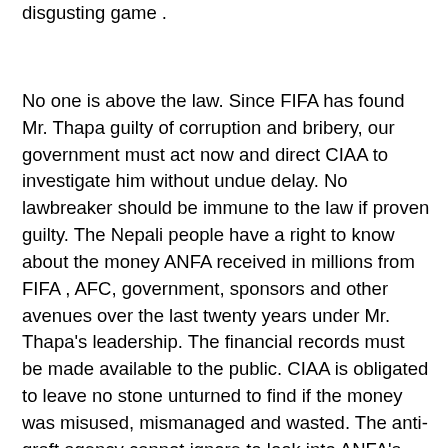disgusting game .
No one is above the law. Since FIFA has found Mr. Thapa guilty of corruption and bribery, our government must act now and direct CIAA to investigate him without undue delay. No lawbreaker should be immune to the law if proven guilty. The Nepali people have a right to know about the money ANFA received in millions from FIFA , AFC, government, sponsors and other avenues over the last twenty years under Mr. Thapa's leadership. The financial records must be made available to the public. CIAA is obligated to leave no stone unturned to find if the money was misused, mismanaged and wasted. The anti-graft agency cannot ignore to look into ANFA's banking. It is reported that the football body has accounts at multiple banks. Mr. Thapa's inner coteries, including his son Gaurav Thapa, are important part of this investigation. The police must look into Mr. Thapa and his son's supposed links to the recent match- fixing